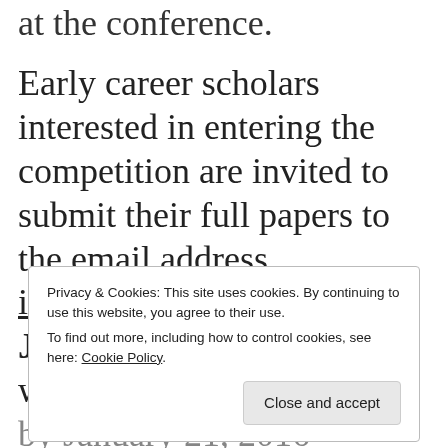at the conference.
Early career scholars interested in entering the competition are invited to submit their full papers to the email address isorecea2016@idi.hr by January 10, 2016. The winner will be announced by January 21, 2016
Privacy & Cookies: This site uses cookies. By continuing to use this website, you agree to their use.
To find out more, including how to control cookies, see here: Cookie Policy